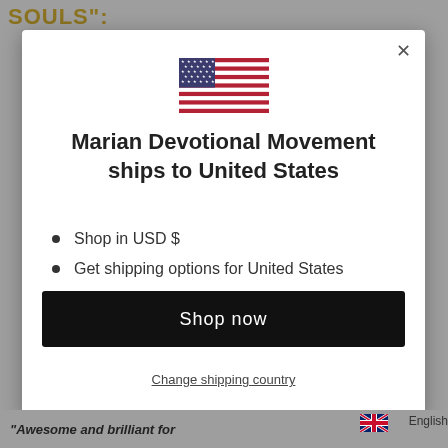SOULS":
[Figure (illustration): Modal dialog box with US flag icon at top, title text, bullet list, Shop now button, and Change shipping country link]
Marian Devotional Movement ships to United States
Shop in USD $
Get shipping options for United States
Shop now
Change shipping country
English
"Awesome and brilliant for